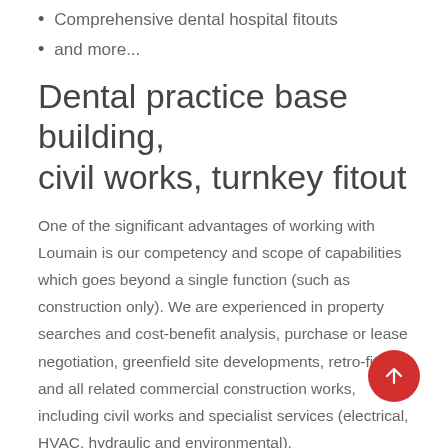Comprehensive dental hospital fitouts
and more...
Dental practice base building, civil works, turnkey fitout
One of the significant advantages of working with Loumain is our competency and scope of capabilities which goes beyond a single function (such as construction only). We are experienced in property searches and cost-benefit analysis, purchase or lease negotiation, greenfield site developments, retro-fitting and all related commercial construction works, including civil works and specialist services (electrical, HVAC, hydraulic and environmental).
Welcoming, modern dental clinic...